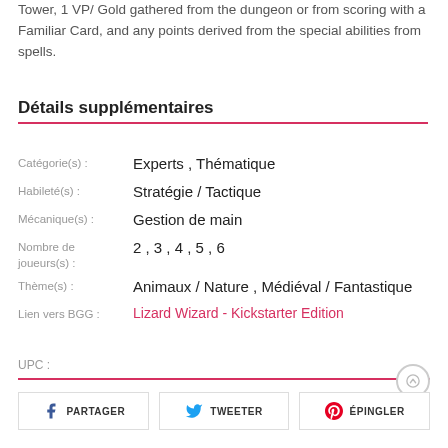Tower, 1 VP/ Gold gathered from the dungeon or from scoring with a Familiar Card, and any points derived from the special abilities from spells.
Détails supplémentaires
| Label | Value |
| --- | --- |
| Catégorie(s) : | Experts , Thématique |
| Habileté(s) : | Stratégie / Tactique |
| Mécanique(s) : | Gestion de main |
| Nombre de joueurs(s) : | 2 , 3 , 4 , 5 , 6 |
| Thème(s) : | Animaux / Nature , Médiéval / Fantastique |
| Lien vers BGG : | Lizard Wizard - Kickstarter Edition |
UPC :
PARTAGER  TWEETER  ÉPINGLER